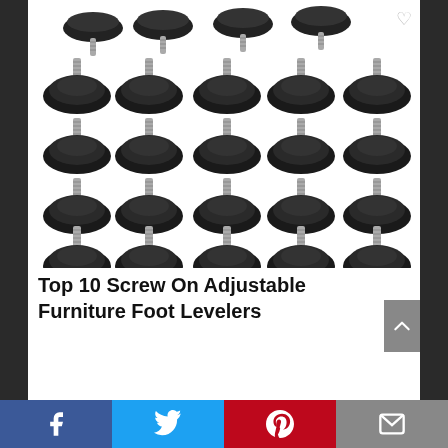[Figure (photo): Grid of 25 black screw-on adjustable furniture foot levelers with metal threaded stems, arranged in 5 rows of 5 items on a white background.]
Top 10 Screw On Adjustable Furniture Foot Levelers
[Figure (infographic): Social sharing bar with Facebook (blue), Twitter (light blue), Pinterest (red), and Email (gray) buttons at the bottom of the page.]